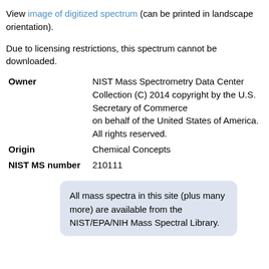View image of digitized spectrum (can be printed in landscape orientation).
Due to licensing restrictions, this spectrum cannot be downloaded.
| Owner | NIST Mass Spectrometry Data Center Collection (C) 2014 copyright by the U.S. Secretary of Commerce on behalf of the United States of America. All rights reserved. |
| Origin | Chemical Concepts |
| NIST MS number | 210111 |
All mass spectra in this site (plus many more) are available from the NIST/EPA/NIH Mass Spectral Library.